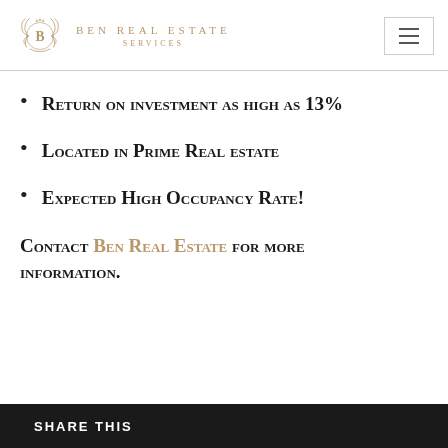BEN REAL ESTATE SERVICES
Return on investment as high as 13%
Located in Prime Real estate
Expected High Occupancy Rate!
Contact Ben Real Estate for more information.
SHARE THIS